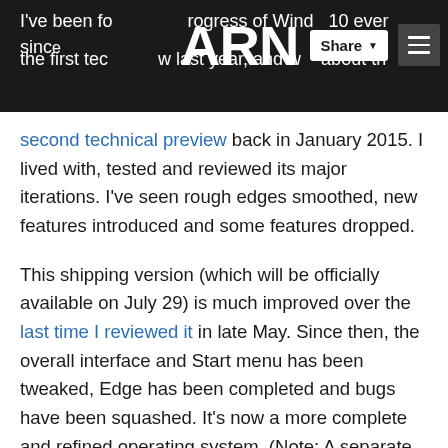I've been following the progress of Windows 10 ever since the first technical preview last year, and wrote about the ARN [logo] Share ☰
second technical preview back in January 2015. I lived with, tested and reviewed its major iterations. I've seen rough edges smoothed, new features introduced and some features dropped.
This shipping version (which will be officially available on July 29) is much improved over the last time I reviewed it in late May. Since then, the overall interface and Start menu has been tweaked, Edge has been completed and bugs have been squashed. It's now a more complete and refined operating system. (Note: A separate version for smaller mobile devices is expected to be released in the fall.)
That's not to say that all is perfect. In this review, I'll give an in-depth look at the new operating system, including its best